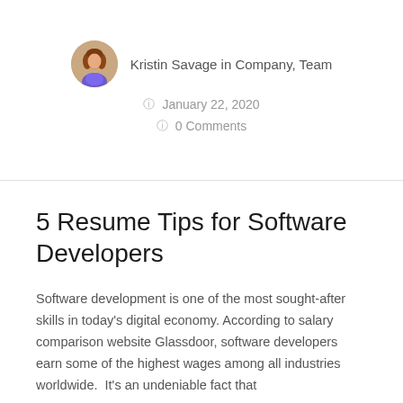[Figure (photo): Circular avatar photo of Kristin Savage]
Kristin Savage in Company, Team
January 22, 2020
0 Comments
5 Resume Tips for Software Developers
Software development is one of the most sought-after skills in today’s digital economy. According to salary comparison website Glassdoor, software developers earn some of the highest wages among all industries worldwide.  It’s an undeniable fact that